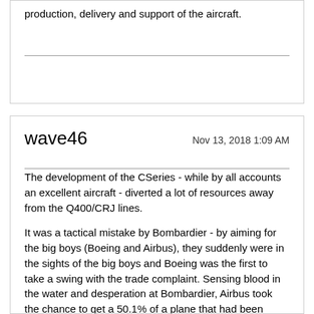production, delivery and support of the aircraft.
wave46
Nov 13, 2018 1:09 AM
The development of the CSeries - while by all accounts an excellent aircraft - diverted a lot of resources away from the Q400/CRJ lines.
It was a tactical mistake by Bombardier - by aiming for the big boys (Boeing and Airbus), they suddenly were in the sights of the big boys and Boeing was the first to take a swing with the trade complaint. Sensing blood in the water and desperation at Bombardier, Airbus took the chance to get a 50.1% of a plane that had been developed at a cost of $5.4 billion for $1. Not a bad deal. Airbus also won the moral victory when Boeing's complaint was dismissed.
The regional jet and prop markets have much smaller sized competition. It's pretty much Embraer, ATR and Bombardier in that pond. By plowing the billions spent on the CSeries into revamped models to compete with Embraer and ATR, they might have a competitive product for regional airliners, instead of ceding the market. A shame, really, both for Canada and competition in the regional aircraft market.
Our industrial base continually withers. I don't think emulating Australia (i.e. basically only an exporter of natural resources) is good policy in the long term.